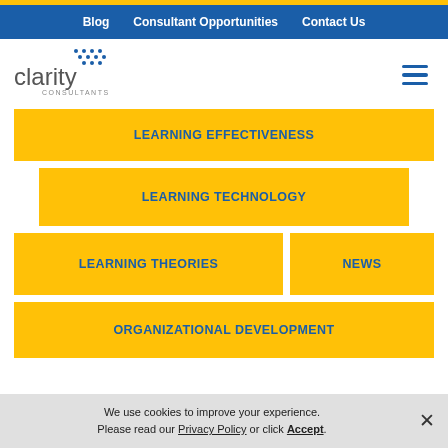Blog | Consultant Opportunities | Contact Us
[Figure (logo): Clarity Consultants logo - blue text with dot pattern]
LEARNING EFFECTIVENESS
LEARNING TECHNOLOGY
LEARNING THEORIES
NEWS
ORGANIZATIONAL DEVELOPMENT
We use cookies to improve your experience. Please read our Privacy Policy or click Accept.